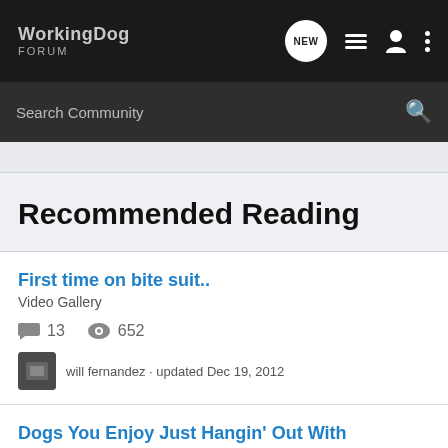WorkingDog FORUM
Search Community
Recommended Reading
First time on bite suit..
Video Gallery
13  652
will fernandez · updated Dec 19, 2012
Dogs You Enjoy Just Hangin' Out With
The Canine Lounge
24  980